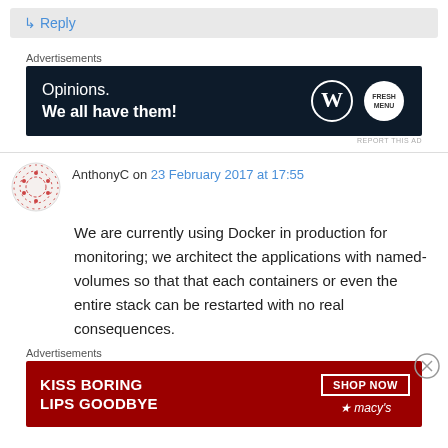Reply
Advertisements
[Figure (infographic): WordPress ad banner: Opinions. We all have them! with WordPress and FreshMenu logos on dark blue background]
AnthonyC on 23 February 2017 at 17:55
We are currently using Docker in production for monitoring; we architect the applications with named-volumes so that that each containers or even the entire stack can be restarted with no real consequences.
Advertisements
[Figure (infographic): Macy's ad banner: KISS BORING LIPS GOODBYE with SHOP NOW button and Macy's star logo on red background]